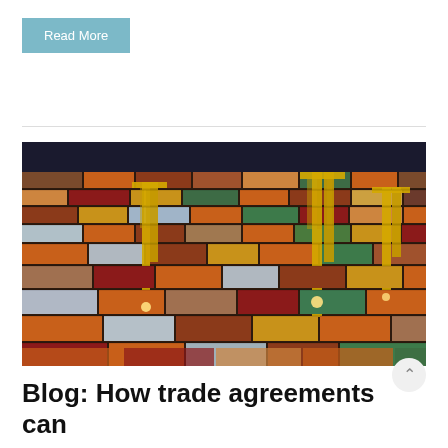Read More
[Figure (photo): Aerial view of a busy shipping container port at night, with rows of colorful stacked containers and large yellow crane structures illuminated by lights.]
Blog: How trade agreements can